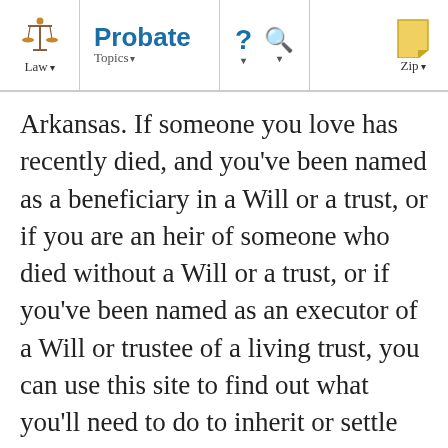Law | Probate Topics | ? | Search | Zip
Arkansas. If someone you love has recently died, and you've been named as a beneficiary in a Will or a trust, or if you are an heir of someone who died without a Will or a trust, or if you've been named as an executor of a Will or trustee of a living trust, you can use this site to find out what you'll need to do to inherit or settle an estate or trust.
Here, you'll find clear and accurate